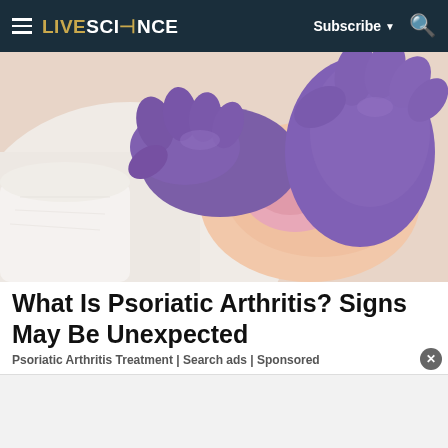LIVESCIENCE — Subscribe ▼ 🔍
[Figure (photo): Doctor or medical professional wearing purple latex gloves examining or pressing on a patient's shoulder/skin area. White coat visible. Close-up medical examination photo.]
What Is Psoriatic Arthritis? Signs May Be Unexpected
Psoriatic Arthritis Treatment | Search ads | Sponsored